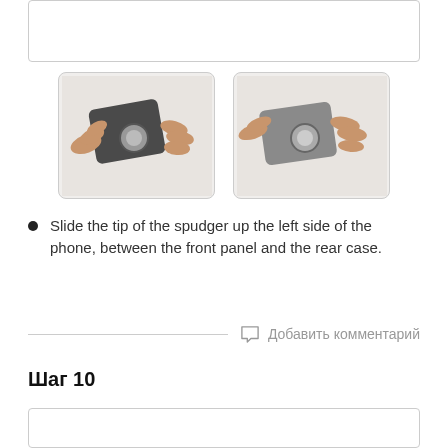[Figure (photo): Top portion of a previous step image (cropped, mostly white/empty box)]
[Figure (photo): Left photo: hands holding a dark smartphone with a circular component visible, fingers pressing on it from both sides]
[Figure (photo): Right photo: hands holding a gray smartphone with a circular component, showing the sliding motion between front panel and rear case]
Slide the tip of the spudger up the left side of the phone, between the front panel and the rear case.
Добавить комментарий
Шаг 10